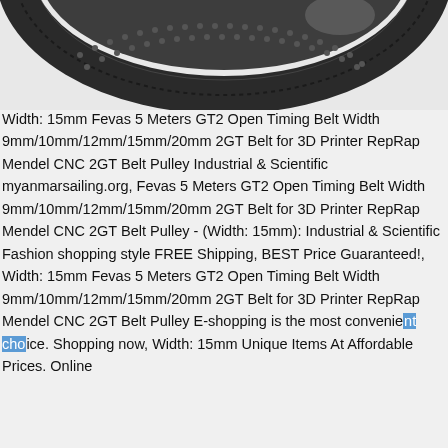[Figure (photo): Close-up photo of a black GT2 timing belt with teeth pattern, shown against a light gray background. Only the top curved portion of the belt/pulley is visible.]
Width: 15mm Fevas 5 Meters GT2 Open Timing Belt Width 9mm/10mm/12mm/15mm/20mm 2GT Belt for 3D Printer RepRap Mendel CNC 2GT Belt Pulley Industrial & Scientific myanmarsailing.org, Fevas 5 Meters GT2 Open Timing Belt Width 9mm/10mm/12mm/15mm/20mm 2GT Belt for 3D Printer RepRap Mendel CNC 2GT Belt Pulley - (Width: 15mm): Industrial & Scientific Fashion shopping style FREE Shipping, BEST Price Guaranteed!, Width: 15mm Fevas 5 Meters GT2 Open Timing Belt Width 9mm/10mm/12mm/15mm/20mm 2GT Belt for 3D Printer RepRap Mendel CNC 2GT Belt Pulley E-shopping is the most convenient choice. Shopping now, Width: 15mm Unique Items At Affordable Prices. Online